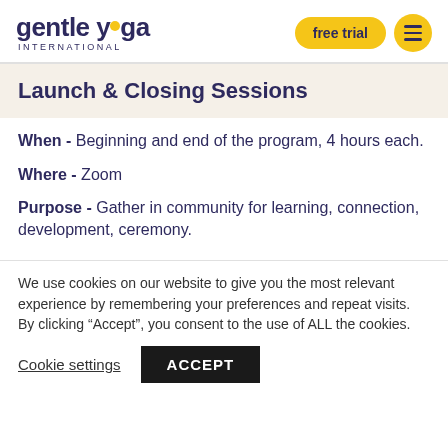gentle yoga INTERNATIONAL
Launch & Closing Sessions
When - Beginning and end of the program, 4 hours each.
Where - Zoom
Purpose - Gather in community for learning, connection, development, ceremony.
We use cookies on our website to give you the most relevant experience by remembering your preferences and repeat visits. By clicking “Accept”, you consent to the use of ALL the cookies.
Cookie settings | ACCEPT